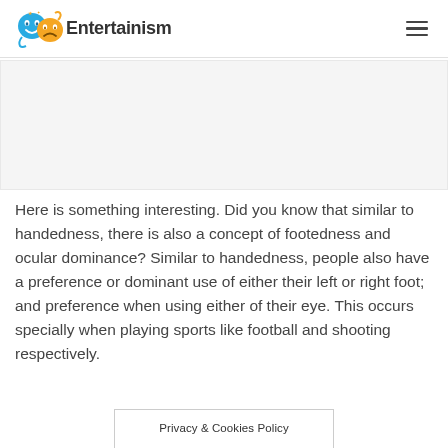Entertainism
Here is something interesting. Did you know that similar to handedness, there is also a concept of footedness and ocular dominance? Similar to handedness, people also have a preference or dominant use of either their left or right foot; and preference when using either of their eye. This occurs specially when playing sports like football and shooting respectively.
Privacy & Cookies Policy